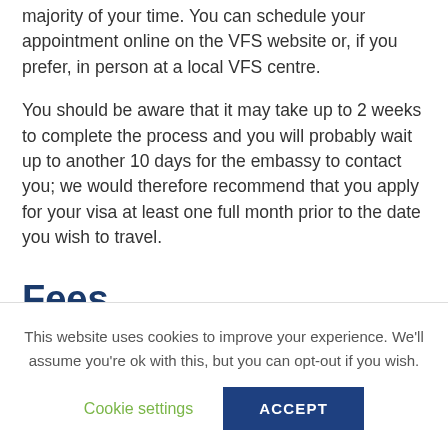majority of your time. You can schedule your appointment online on the VFS website or, if you prefer, in person at a local VFS centre.
You should be aware that it may take up to 2 weeks to complete the process and you will probably wait up to another 10 days for the embassy to contact you; we would therefore recommend that you apply for your visa at least one full month prior to the date you wish to travel.
Fees
The following fees are applicable:
This website uses cookies to improve your experience. We'll assume you're ok with this, but you can opt-out if you wish.